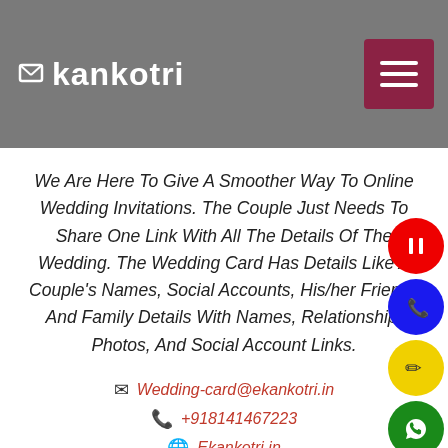ekankotri
We Are Here To Give A Smoother Way To Online Wedding Invitations. The Couple Just Needs To Share One Link With All The Details Of The Wedding. The Wedding Card Has Details Like A Couple's Names, Social Accounts, His/her Friends And Family Details With Names, Relationship, Photos, And Social Account Links.
Wedding-card@ekankotri.in
+918141467223
Ekankotri.in